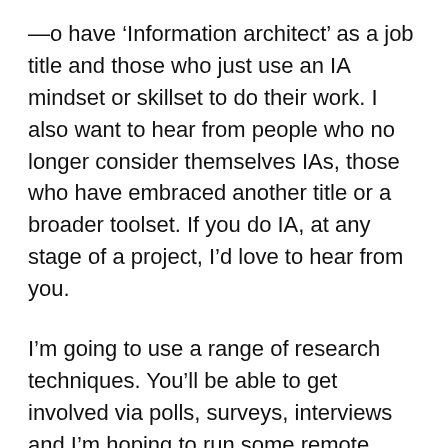— o have 'Information architect' as a job title and those who just use an IA mindset or skillset to do their work. I also want to hear from people who no longer consider themselves IAs, those who have embraced another title or a broader toolset. If you do IA, at any stage of a project, I'd love to hear from you.
I'm going to use a range of research techniques. You'll be able to get involved via polls, surveys, interviews and I'm hoping to run some remote diary studies to see how projects can unfold for IAs. Participation can be anonymous if you prefer. You can choose your level of involvement.
I'll be doing things right – following the